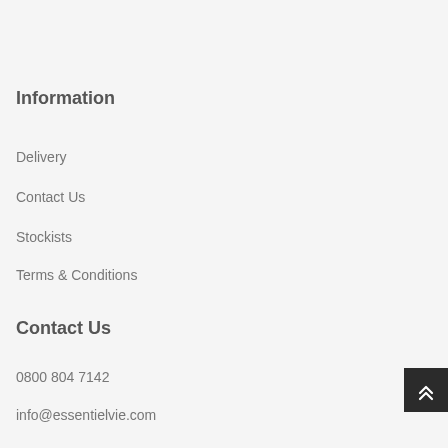Information
Delivery
Contact Us
Stockists
Terms & Conditions
Contact Us
0800 804 7142
info@essentielvie.com